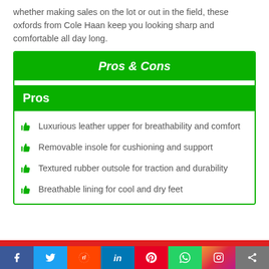whether making sales on the lot or out in the field, these oxfords from Cole Haan keep you looking sharp and comfortable all day long.
| Pros & Cons |
| --- |
| Pros |
| Luxurious leather upper for breathability and comfort |
| Removable insole for cushioning and support |
| Textured rubber outsole for traction and durability |
| Breathable lining for cool and dry feet |
Social share bar: Facebook, Twitter, Reddit, LinkedIn, Pinterest, WhatsApp, Instagram, Share